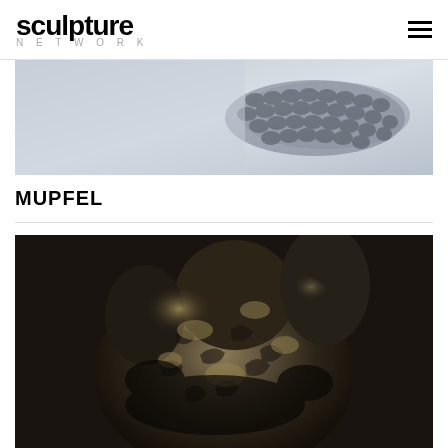sculpture NETWORK
[Figure (photo): Close-up photo of a textured woven or scaled sculpture object, grey-blue tones, rope-like or knitted surface, on a light background.]
MUPFEL
[Figure (photo): Close-up photo of a dark bronze/metallic sculptural form, crumpled and highly textured, showing hands or organic shapes, with metallic sheen highlights.]